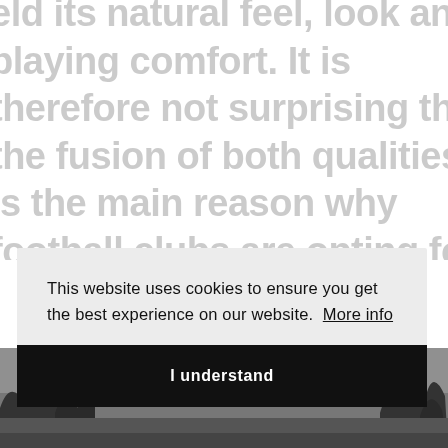eld its natural feel, look and playing comfort. It is therefore not surprising that the fusion of both qualities is the main reason why football clubs are opting for these systems. And there's more ... DOMO® Fusion Grass also offers a wide range of features when it comes to installing your pitch.
This website uses cookies to ensure you get the best experience on our website. More info
I understand
[Figure (photo): Black and white outdoor photo showing trees and sky at the bottom of the page]